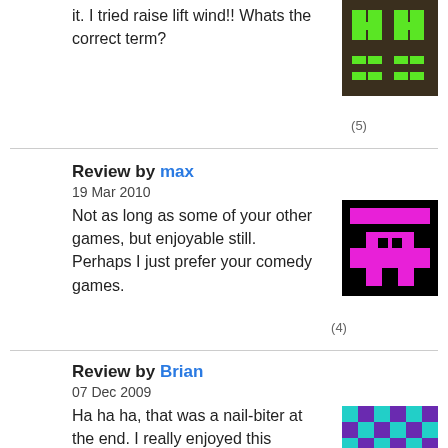it. I tried raise lift wind!! Whats the correct term?
(5)
[Figure (illustration): Pixel art avatar with green H-like shapes on dark brown background]
Review by max
19 Mar 2010
Not as long as some of your other games, but enjoyable still. Perhaps I just prefer your comedy games.
[Figure (illustration): Pixel art avatar with magenta/pink robot shape on black background]
(4)
Review by Brian
07 Dec 2009
Ha ha ha, that was a nail-biter at the end. I really enjoyed this game. I couldn't give it a 5, because it was a little squirrelly. It was
[Figure (illustration): Pixel art avatar with cyan/teal pattern on purple background]